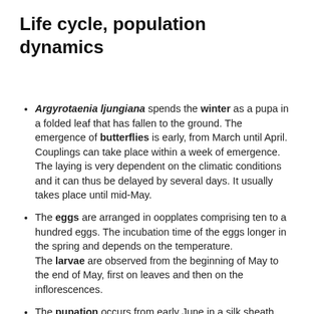Life cycle, population dynamics
Argyrotaenia ljungiana spends the winter as a pupa in a folded leaf that has fallen to the ground. The emergence of butterflies is early, from March until April. Couplings can take place within a week of emergence. The laying is very dependent on the climatic conditions and it can thus be delayed by several days. It usually takes place until mid-May.
The eggs are arranged in oopplates comprising ten to a hundred eggs. The incubation time of the eggs longer in the spring and depends on the temperature. The larvae are observed from the beginning of May to the end of May, first on leaves and then on the inflorescences.
The pupation occurs from early June in a silk sheath woven by the larva between the organs attacked. Depending on the climate...